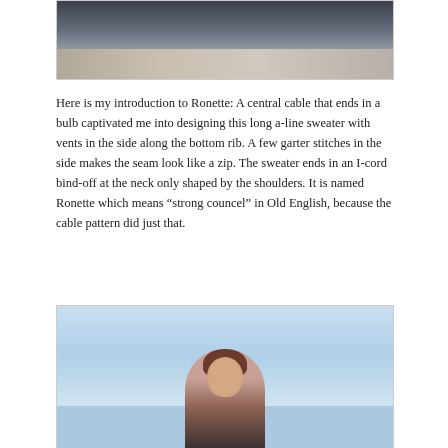[Figure (photo): Fashion photo showing a person in dark clothing crouching near a white wall, with a wooden floor surface below]
Here is my introduction to Ronette: A central cable that ends in a bulb captivated me into designing this long a-line sweater with vents in the side along the bottom rib. A few garter stitches in the side makes the seam look like a zip. The sweater ends in an I-cord bind-off at the neck only shaped by the shoulders. It is named Ronette which means “strong councel” in Old English, because the cable pattern did just that.
[Figure (photo): Fashion photo of a woman with auburn hair wearing a knit sweater, posed against a light blue sky background]